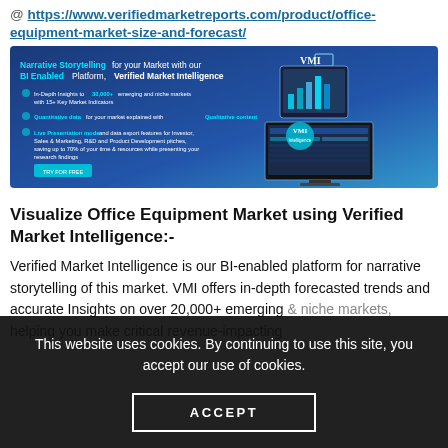@ https://www.verifiedmarketreports.com/product/office-equipment-market-size-and-forecast/
[Figure (infographic): Verified Market Intelligence (VMI) platform banner showing narrative storytelling for market BI, with bullet points about in-depth insights, quantitative data, live presentation mode, and a Try for Free button. Shows tablet and desktop screen mockups with VMI logo.]
Visualize Office Equipment Market using Verified Market Intelligence:-
Verified Market Intelligence is our BI-enabled platform for narrative storytelling of this market. VMI offers in-depth forecasted trends and accurate Insights on over 20,000+ emerging & niche markets, helping you make critical revenue-impacting decisions with the power of intelligence.
This website uses cookies. By continuing to use this site, you accept our use of cookies.
ACCEPT